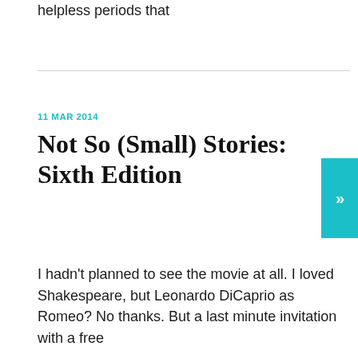helpless periods that
11 MAR 2014
Not So (Small) Stories: Sixth Edition
I hadn't planned to see the movie at all. I loved Shakespeare, but Leonardo DiCaprio as Romeo? No thanks. But a last minute invitation with a free